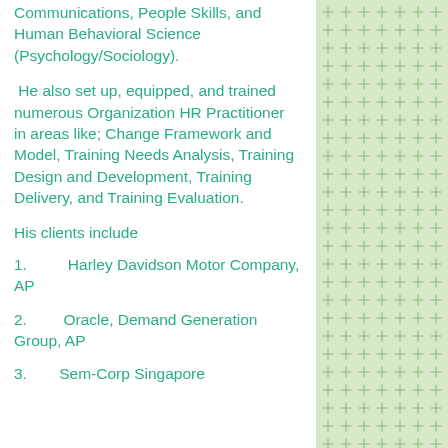Communications, People Skills, and Human Behavioral Science (Psychology/Sociology).
He also set up, equipped, and trained numerous Organization HR Practitioner in areas like; Change Framework and Model, Training Needs Analysis, Training Design and Development, Training Delivery, and Training Evaluation.
His clients include
1.      Harley Davidson Motor Company, AP
2.      Oracle, Demand Generation Group, AP
3.      Sem-Corp Singapore
[Figure (illustration): Light green decorative side panel with a repeating cross/dagger pattern in a slightly darker green.]